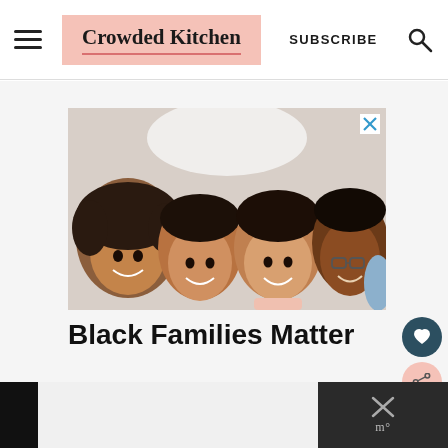Crowded Kitchen | SUBSCRIBE
[Figure (photo): Four smiling family members (two adults and two children) lying on a bed viewed from above, with their heads together in a circle]
Black Families Matter